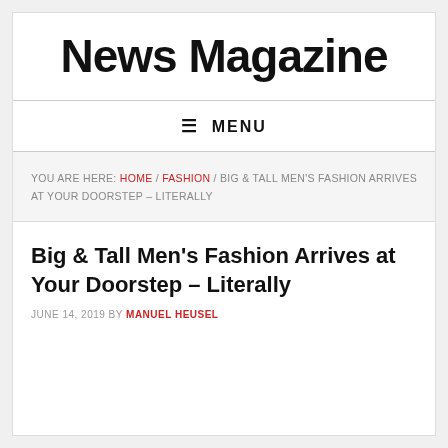News Magazine
≡ MENU
YOU ARE HERE: HOME / FASHION / BIG & TALL MEN'S FASHION ARRIVES AT YOUR DOORSTEP – LITERALLY
Big & Tall Men's Fashion Arrives at Your Doorstep – Literally
JUNE 14, 2019 BY MANUEL HEUSEL